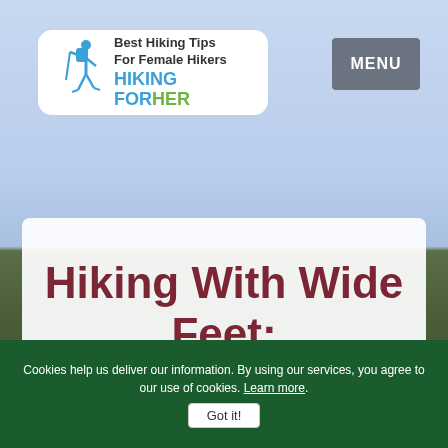[Figure (screenshot): Website header screenshot for Hiking For Her, showing a logo with hiker icon, tagline 'Best Hiking Tips For Female Hikers', a MENU button, a sky and forest background, and the beginning of an article titled 'Hiking With Wide Feet:']
Best Hiking Tips For Female Hikers — HIKING FOR HER
Hiking With Wide Feet:
Cookies help us deliver our information. By using our services, you agree to our use of cookies. Learn more.
Got it!